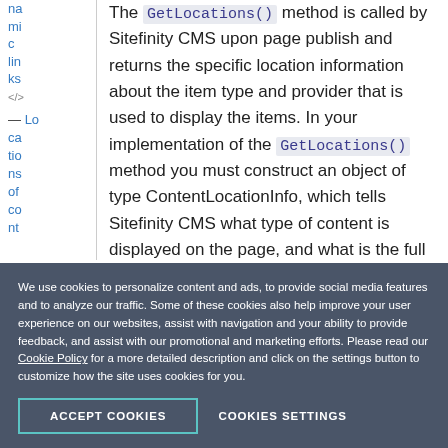dynamic links </> — Locations of content
The GetLocations() method is called by Sitefinity CMS upon page publish and returns the specific location information about the item type and provider that is used to display the items. In your implementation of the GetLocations() method you must construct an object of type ContentLocationInfo, which tells Sitefinity CMS what type of content is displayed on the page, and what is the full name of the provider
We use cookies to personalize content and ads, to provide social media features and to analyze our traffic. Some of these cookies also help improve your user experience on our websites, assist with navigation and your ability to provide feedback, and assist with our promotional and marketing efforts. Please read our Cookie Policy for a more detailed description and click on the settings button to customize how the site uses cookies for you.